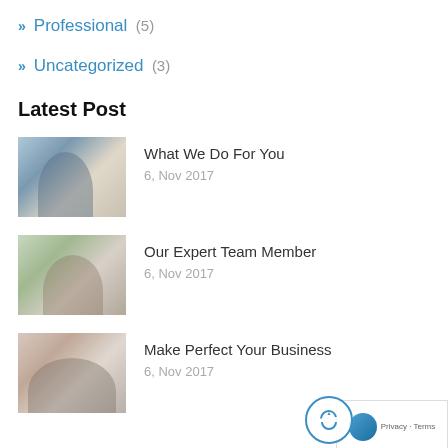» Professional (5)
» Uncategorized (3)
Latest Post
[Figure (photo): Man working on laptop at desk]
What We Do For You
6, Nov 2017
[Figure (photo): Woman professional with team in background]
Our Expert Team Member
6, Nov 2017
[Figure (photo): Two business people looking at laptop]
Make Perfect Your Business
6, Nov 2017